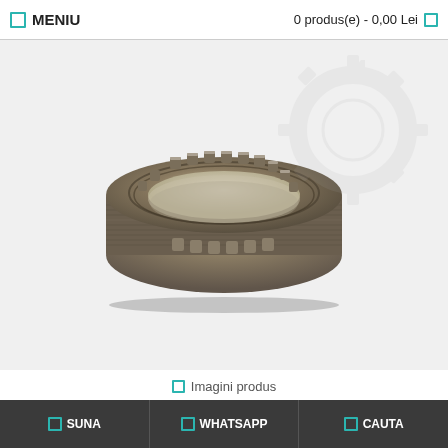MENIU   0 produs(e) - 0,00 Lei
[Figure (photo): Metal gear synchronizer ring with castellated teeth around the perimeter, viewed from a slight angle showing both the top toothed edge and the threaded/grooved outer circumference. The part is metallic grey/brown in color.]
Imagini produs
SUNA   WHATSAPP   CAUTA